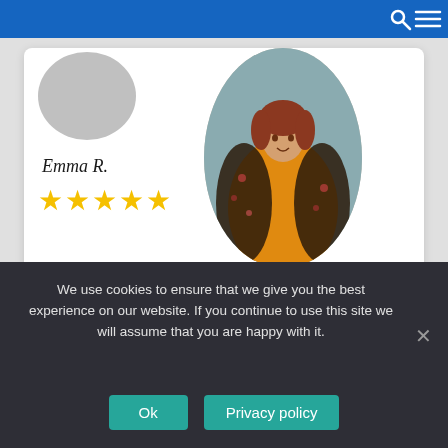[Figure (photo): Profile photo of a person wearing an orange shirt with a floral jacket, shown in a circular crop. A partially visible grey circle avatar placeholder is also present.]
Emma R.
★★★★★
ORDER
Professional Homework Help
We use cookies to ensure that we give you the best experience on our website. If you continue to use this site we will assume that you are happy with it.
Ok
Privacy policy